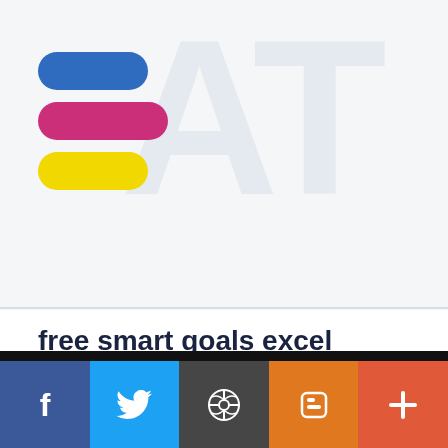[Figure (logo): Colorful pill-shaped logo with three horizontal rounded pills: blue, pink/magenta, and yellow, stacked vertically. Large watermark letters 'AT' visible in background.]
free smart goals excel #template smart goals template smart goals #worksheet goals template
[Figure (infographic): Social media sharing bar with Facebook (dark blue), Twitter (light blue), WordPress (dark gray), Blogger (orange), and a plus/share button (red-orange).]